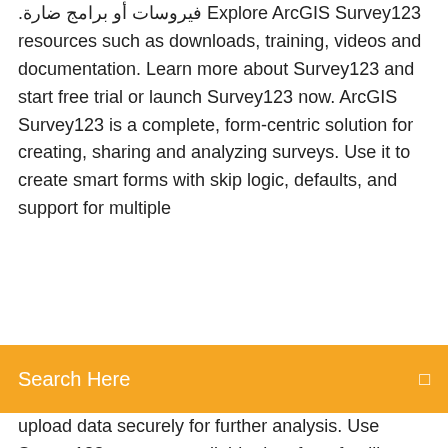فيروسات أو برامج ضارة. Explore ArcGIS Survey123 resources such as downloads, training, videos and documentation. Learn more about Survey123 and start free trial or launch Survey123 now. ArcGIS Survey123 is a complete, form-centric solution for creating, sharing and analyzing surveys. Use it to create smart forms with skip logic, defaults, and support for multiple
[Figure (screenshot): Orange search bar with text 'Search Here' and a small icon on the right]
upload data securely for further analysis. Use Survey123 to capture reliable data from familiar devices while either online or offline. With surveys published to ArcGIS Online or ArcGIS Enterprise, data is securely uploaded to ArcGIS for further analysis. ArcGIS Survey123. Environmental Systems Research Institute Inc. لجمع Survey123 الإنتاجية. قائمة الرغبات. استخدم البيانات الموثوقة من الأجهزة المعروفة سواء كنت متصلًا أم لا. مع يتم ،ArcGIS Enterprise أو ArcGIS Online نشر الاستطلاعات إلى .Survey123 لمزيد من التحليل ArcGIS تحميل البيانات بشكل آمن إلى for ArcGIS is a simple form-centric data collection GIS app